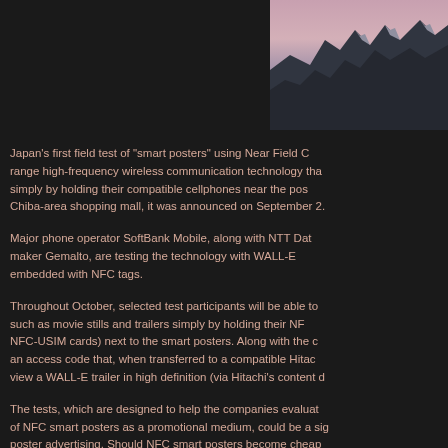[Figure (photo): Partial photo of a mountain landscape with pink/purple sky, with dark left panel. Only the right portion of the image is visible.]
Japan's first field test of "smart posters" using Near Field Communication (NFC), a short range high-frequency wireless communication technology that lets users access information simply by holding their compatible cellphones near the posters, will take place in a Chiba-area shopping mall, it was announced on September 2.
Major phone operator SoftBank Mobile, along with NTT Data and smart card maker Gemalto, are testing the technology with WALL-E movie promotional posters embedded with NFC tags.
Throughout October, selected test participants will be able to download content such as movie stills and trailers simply by holding their NFC-enabled phones (with NFC-USIM cards) next to the smart posters. Along with the digital content, they'll receive an access code that, when transferred to a compatible Hitachi device, will allow them to view a WALL-E trailer in high definition (via Hitachi's content delivery service).
The tests, which are designed to help the companies evaluate the commercial potential of NFC smart posters as a promotional medium, could be a sign of things to come for poster advertising. Should NFC smart posters become cheap enough to produce, they have the potential to replace the ubiquitous QR (2D) code that is currently used on advertising posters. NFC is seen as more convenient than QR codes because users don't have to scan a code and visit a separate website to view the content – the information can be accessed directly with a simple swipe of the phone.